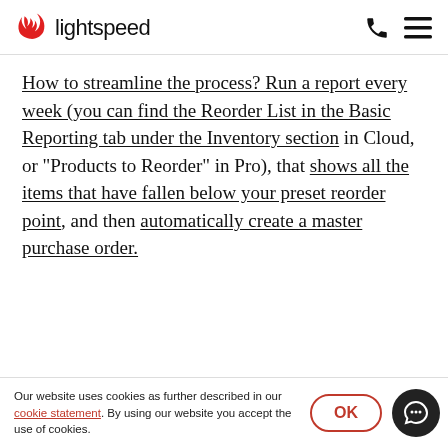lightspeed
How to streamline the process? Run a report every week (you can find the Reorder List in the Basic Reporting tab under the Inventory section in Cloud, or “Products to Reorder” in Pro), that shows all the items that have fallen below your preset reorder point, and then automatically create a master purchase order.
Our website uses cookies as further described in our cookie statement. By using our website you accept the use of cookies.